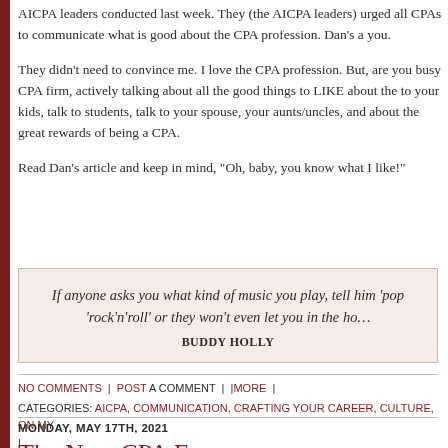AICPA leaders conducted last week. They (the AICPA leaders) urged all CPAs to communicate what is good about the CPA profession. Dan's a you.
They didn't need to convince me. I love the CPA profession. But, are you busy CPA firm, actively talking about all the good things to LIKE about the to your kids, talk to students, talk to your spouse, your aunts/uncles, and about the great rewards of being a CPA.
Read Dan's article and keep in mind, “Oh, baby, you know what I like!”
If anyone asks you what kind of music you play, tell him ‘pop’ or 'rock’n’roll’ or they won’t even let you in the ho… BUDDY HOLLY
NO COMMENTS | POST A COMMENT | | MORE | CATEGORIES: AICPA, COMMUNICATION, CRAFTING YOUR CAREER, CULTURE, ON MY |
MONDAY, MAY 17TH, 2021
The New CPA Exam